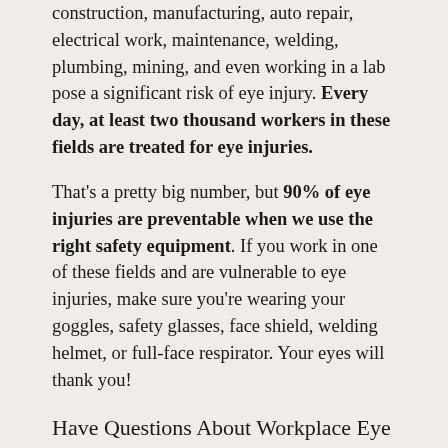construction, manufacturing, auto repair, electrical work, maintenance, welding, plumbing, mining, and even working in a lab pose a significant risk of eye injury. Every day, at least two thousand workers in these fields are treated for eye injuries.
That’s a pretty big number, but 90% of eye injuries are preventable when we use the right safety equipment. If you work in one of these fields and are vulnerable to eye injuries, make sure you’re wearing your goggles, safety glasses, face shield, welding helmet, or full-face respirator. Your eyes will thank you!
Have Questions About Workplace Eye Safety? Just Ask!
Whether you’ve been experiencing symptoms of eye strain or are concerned about the eye protection you’ve been using at your worksite, we’re here to